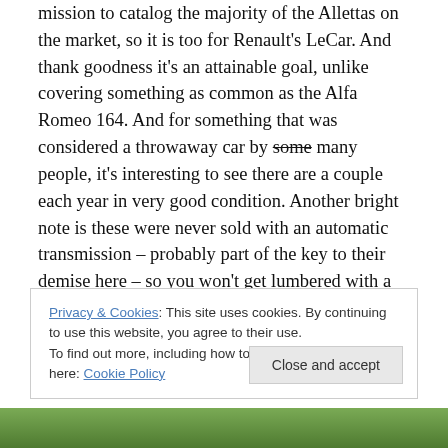mission to catalog the majority of the Allettas on the market, so it is too for Renault's LeCar. And thank goodness it's an attainable goal, unlike covering something as common as the Alfa Romeo 164. And for something that was considered a throwaway car by some many people, it's interesting to see there are a couple each year in very good condition. Another bright note is these were never sold with an automatic transmission – probably part of the key to their demise here – so you won't get lumbered with a gorgeous survivor running an underdeveloped/slow/recalcitrant drivetrain. Check out this
Privacy & Cookies: This site uses cookies. By continuing to use this website, you agree to their use.
To find out more, including how to control cookies, see here: Cookie Policy
[Figure (photo): Green foliage/vegetation visible at the bottom of the page]